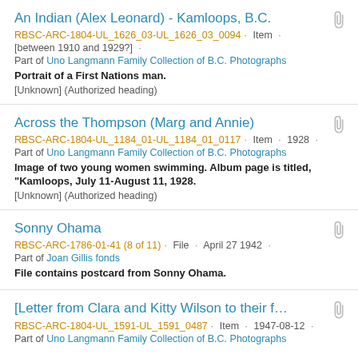An Indian (Alex Leonard) - Kamloops, B.C.
RBSC-ARC-1804-UL_1626_03-UL_1626_03_0094 · Item · [between 1910 and 1929?] ·
Part of Uno Langmann Family Collection of B.C. Photographs
Portrait of a First Nations man.
[Unknown] (Authorized heading)
Across the Thompson (Marg and Annie)
RBSC-ARC-1804-UL_1184_01-UL_1184_01_0117 · Item · 1928 ·
Part of Uno Langmann Family Collection of B.C. Photographs
Image of two young women swimming. Album page is titled, "Kamloops, July 11-August 11, 1928.
[Unknown] (Authorized heading)
Sonny Ohama
RBSC-ARC-1786-01-41 (8 of 11) · File · April 27 1942 ·
Part of Joan Gillis fonds
File contains postcard from Sonny Ohama.
[Letter from Clara and Kitty Wilson to their f...
RBSC-ARC-1804-UL_1591-UL_1591_0487 · Item · 1947-08-12 ·
Part of Uno Langmann Family Collection of B.C. Photographs